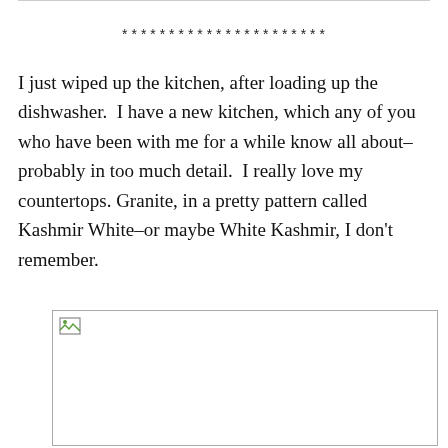**********************
I just wiped up the kitchen, after loading up the dishwasher.  I have a new kitchen, which any of you who have been with me for a while know all about–probably in too much detail.  I really love my countertops. Granite, in a pretty pattern called Kashmir White–or maybe White Kashmir, I don't remember.
[Figure (photo): Placeholder image box with broken image icon in top-left corner]